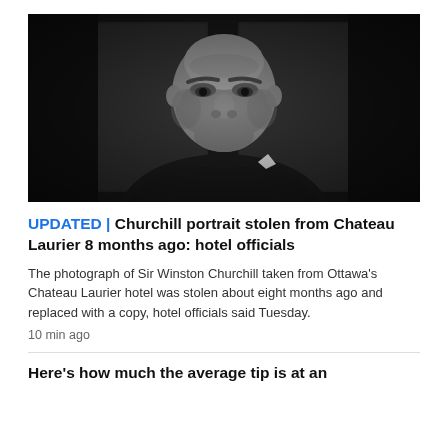[Figure (photo): Black and white portrait photograph of Sir Winston Churchill, stern expression, wearing dark suit with bow tie, photographed from slight low angle against dark paneled background.]
UPDATED | Churchill portrait stolen from Chateau Laurier 8 months ago: hotel officials
The photograph of Sir Winston Churchill taken from Ottawa's Chateau Laurier hotel was stolen about eight months ago and replaced with a copy, hotel officials said Tuesday.
10 min ago
Here's how much the average tip is at an